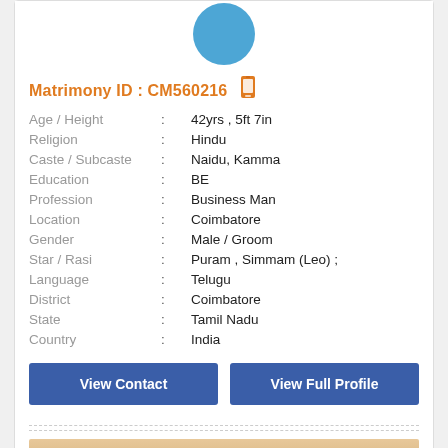[Figure (illustration): Blue circular avatar/profile photo placeholder at top of card]
Matrimony ID : CM560216
| Age / Height | : | 42yrs , 5ft 7in |
| Religion | : | Hindu |
| Caste / Subcaste | : | Naidu, Kamma |
| Education | : | BE |
| Profession | : | Business Man |
| Location | : | Coimbatore |
| Gender | : | Male / Groom |
| Star / Rasi | : | Puram , Simmam (Leo) ; |
| Language | : | Telugu |
| District | : | Coimbatore |
| State | : | Tamil Nadu |
| Country | : | India |
View Contact
View Full Profile
[Figure (photo): Partial photo of a person at the bottom of the page]